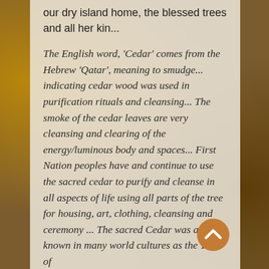our dry island home, the blessed trees and all her kin...
The English word, 'Cedar' comes from the Hebrew 'Qatar', meaning to smudge... indicating cedar wood was used in purification rituals and cleansing... The smoke of the cedar leaves are very cleansing and clearing of the energy/luminous body and spaces... First Nation peoples have and continue to use the sacred cedar to purify and cleanse in all aspects of life using all parts of the tree for housing, art, clothing, cleansing and ceremony ... The sacred Cedar was also known in many world cultures as the Tree of
[Figure (other): Orange/brown circular scroll-up button with a white chevron arrow pointing upward]